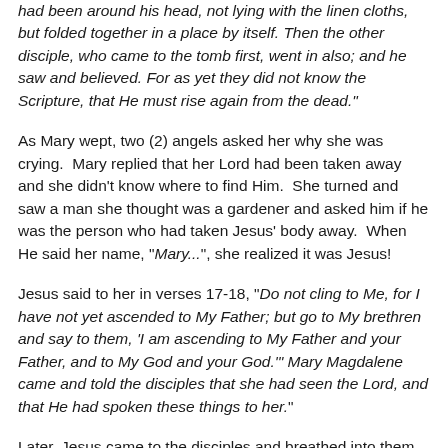had been around his head, not lying with the linen cloths, but folded together in a place by itself. Then the other disciple, who came to the tomb first, went in also; and he saw and believed. For as yet they did not know the Scripture, that He must rise again from the dead."
As Mary wept, two (2) angels asked her why she was crying.  Mary replied that her Lord had been taken away and she didn't know where to find Him.  She turned and saw a man she thought was a gardener and asked him if he was the person who had taken Jesus' body away.  When He said her name, "Mary...", she realized it was Jesus!
Jesus said to her in verses 17-18, "Do not cling to Me, for I have not yet ascended to My Father; but go to My brethren and say to them, 'I am ascending to My Father and your Father, and to My God and your God.'" Mary Magdalene came and told the disciples that she had seen the Lord, and that He had spoken these things to her."
Later, Jesus came to the disciples and breathed into them the Holy Spirit, letting them know that their sins had been forgiven.